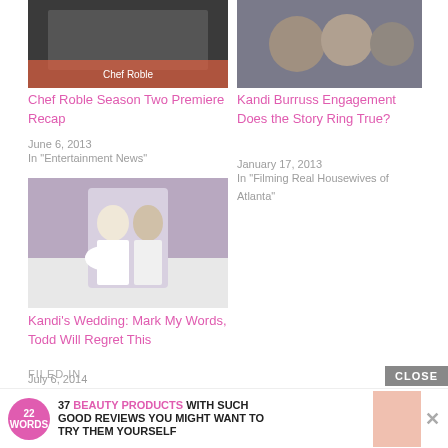[Figure (photo): Thumbnail image for Chef Roble Season Two Premiere Recap article]
Chef Roble Season Two Premiere Recap
June 6, 2013
In "Entertainment News"
[Figure (photo): Thumbnail image showing group of people for Kandi Burruss Engagement article]
Kandi Burruss Engagement Does the Story Ring True?
January 17, 2013
In "Filming Real Housewives of Atlanta"
[Figure (photo): Wedding photo of Kandi and Todd at reception venue]
Kandi's Wedding: Mark My Words, Todd Will Regret This
July 6, 2014
In "Filming Real Housewives of Atlanta"
FILED IN
37 BEAUTY PRODUCTS WITH SUCH GOOD REVIEWS YOU MIGHT WANT TO TRY THEM YOURSELF
CLOSE